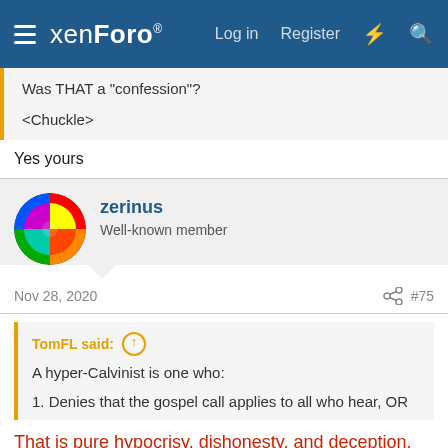xenForo — Log in  Register
Was THAT a "confession"?

<Chuckle>
Yes yours
zerinus
Well-known member
Nov 28, 2020  #75
TomFL said: ↑
A hyper-Calvinist is one who:

1. Denies that the gospel call applies to all who hear, OR
That is pure hypocrisy, dishonesty, and deception, Calvinist style. The "gospel" is literally the "good